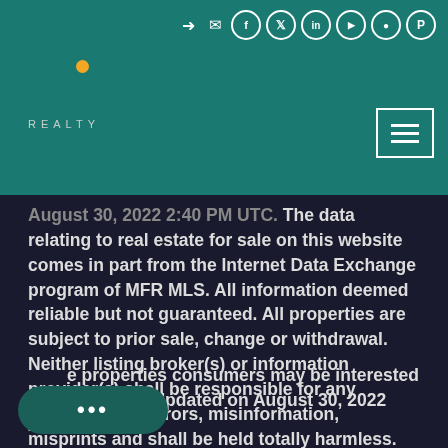[Figure (logo): eXp Realty logo with teal letters and orange dot, on teal header background]
August 30, 2022 2:40 PM UTC. The data relating to real estate for sale on this website comes in part from the Internet Data Exchange program of MFR MLS. All information deemed reliable but not guaranteed. All properties are subject to prior sale, change or withdrawal. Neither listing broker(s) or information provider(s) shall be responsible for any typographical errors, misinformation, misprints and shall be held totally harmless. Listing(s) information is provided for consumers personal, non-commercial use and may not be used for any purpose other than to identify prospective properties consumers may be interested in purchasing. Updated on August 30, 2022 2:40 PM UTC